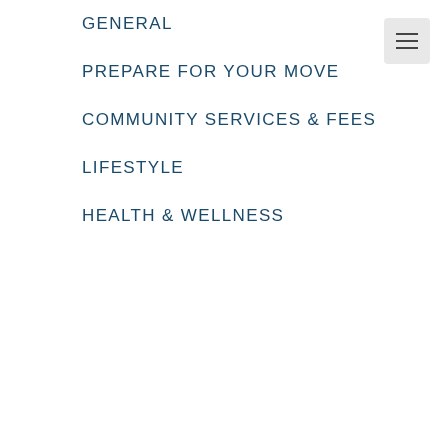GENERAL
PREPARE FOR YOUR MOVE
COMMUNITY SERVICES & FEES
LIFESTYLE
HEALTH & WELLNESS
Senior Resource Group's monthly fee residency option offers residents freedom and flexibility. It also allows for lower up-front costs and the ability to make transitions more cost effectively should your needs change.
Who is available to help me explore the